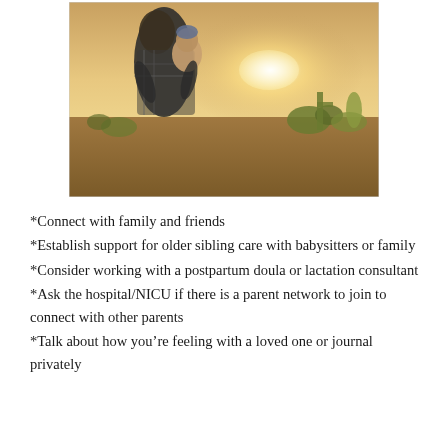[Figure (photo): A woman holding a baby outdoors in a desert landscape at golden hour, with cacti and brush in the background.]
*Connect with family and friends
*Establish support for older sibling care with babysitters or family
*Consider working with a postpartum doula or lactation consultant
*Ask the hospital/NICU if there is a parent network to join to connect with other parents
*Talk about how you're feeling with a loved one or journal privately